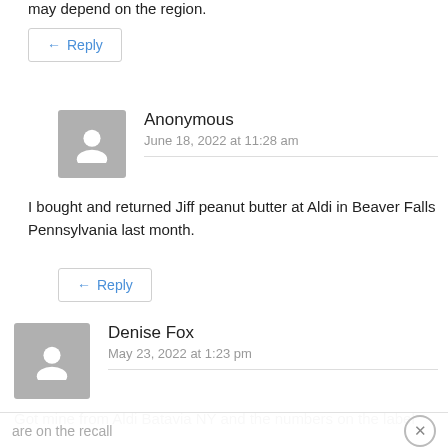may depend on the region.
← Reply
Anonymous
June 18, 2022 at 11:28 am
I bought and returned Jiff peanut butter at Aldi in Beaver Falls Pennsylvania last month.
← Reply
Denise Fox
May 23, 2022 at 1:23 pm
Got mine from Aldi Batavia NY and the numbers on the label
are on the recall